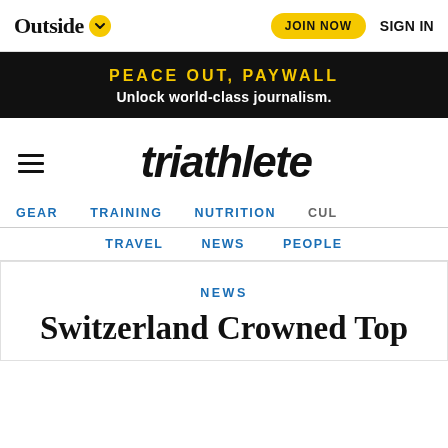Outside [logo] | JOIN NOW | SIGN IN
PEACE OUT, PAYWALL
Unlock world-class journalism.
[Figure (logo): triathlete logo with hamburger menu]
GEAR   TRAINING   NUTRITION   CUL
TRAVEL   NEWS   PEOPLE
NEWS
Switzerland Crowned Top